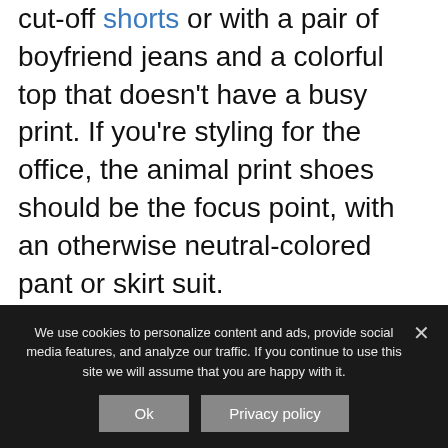cut-off shorts or with a pair of boyfriend jeans and a colorful top that doesn't have a busy print. If you're styling for the office, the animal print shoes should be the focus point, with an otherwise neutral-colored pant or skirt suit.
High heel shoes with animal prints are great for going out! If you are a little hesitant, definitely stick to black or earth
We use cookies to personalize content and ads, provide social media features, and analyze our traffic. If you continue to use this site we will assume that you are happy with it.